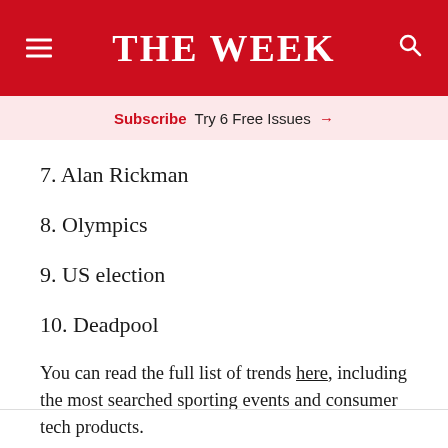THE WEEK
Subscribe  Try 6 Free Issues →
7. Alan Rickman
8. Olympics
9. US election
10. Deadpool
You can read the full list of trends here, including the most searched sporting events and consumer tech products.